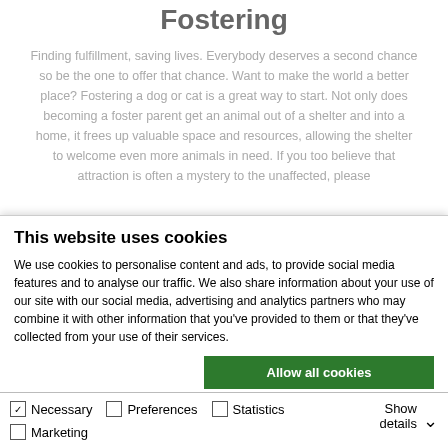Fostering
Finding fulfillment, saving lives. Everybody deserves a second chance so be the one to offer that chance. Want to make the world a better place? Fostering a dog or cat is a great way to start. Not only does becoming a foster parent get an animal out of a shelter and into a home, it frees up valuable space and resources, allowing the shelter to welcome even more animals in need. If you too believe that attraction is often a mystery to the unaffected, please
This website uses cookies
We use cookies to personalise content and ads, to provide social media features and to analyse our traffic. We also share information about your use of our site with our social media, advertising and analytics partners who may combine it with other information that you've provided to them or that they've collected from your use of their services.
Allow all cookies
Allow selection
Use necessary cookies only
Necessary  Preferences  Statistics  Marketing  Show details